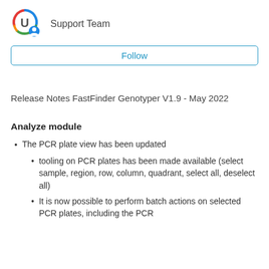[Figure (logo): U logo with colorful ring (red, blue, green) and a small person/user icon at lower right]
Support Team
Follow
Release Notes FastFinder Genotyper V1.9 - May 2022
Analyze module
The PCR plate view has been updated
tooling on PCR plates has been made available (select sample, region, row, column, quadrant, select all, deselect all)
It is now possible to perform batch actions on selected PCR plates, including the PCR...